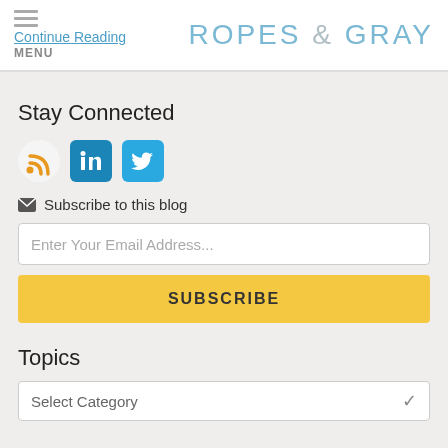Continue Reading | MENU | ROPES & GRAY
Stay Connected
[Figure (infographic): Social media icons: RSS feed (orange), LinkedIn (blue), Twitter (blue)]
Subscribe to this blog
Enter Your Email Address...
SUBSCRIBE
Topics
Select Category